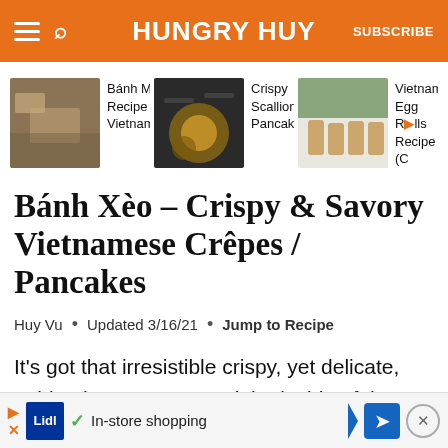HUNGRY HUY
[Figure (screenshot): Navigation thumbnails: Bánh Mì Recipe • Vietnamese..., Crispy Scallion Pancakes..., Vietnamese Egg Rolls Recipe (C...]
Bánh Xèo – Crispy & Savory Vietnamese Crêpes / Pancakes
Huy Vu · Updated 3/16/21 · Jump to Recipe
It's got that irresistible crispy, yet delicate, golden brown crust. And the inside of the bánh ... rk
[Figure (screenshot): Advertisement bar: Lidl In-store shopping with navigation and close buttons]